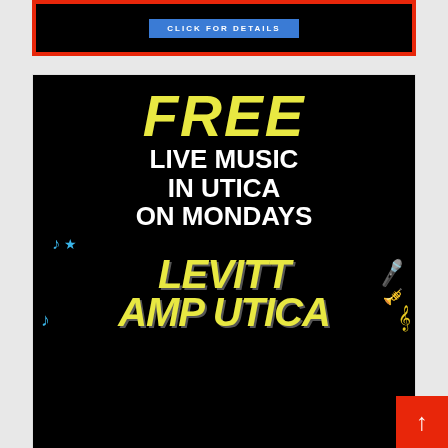[Figure (screenshot): Top advertisement card with dark background and 'CLICK FOR DETAILS' blue button, framed with red border]
[Figure (advertisement): Levitt AMP Utica advertisement - black background with 'FREE LIVE MUSIC IN UTICA ON MONDAYS' in yellow and white text, with Levitt AMP Utica logo in stylized yellow graffiti font with musical icons]
[Figure (advertisement): Pure Earth advertisement - dark background with text 'We believe the global pollution crisis can be solved.' and 'In a world where pollution doesn't stop at borders, we can all be part of the solution. JOIN US.' with Pure Earth diamond logo]
[Figure (other): Red back-to-top button with white upward arrow in bottom right]